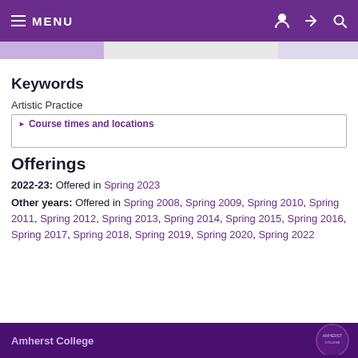MENU
Keywords
Artistic Practice
Course times and locations
Offerings
2022-23: Offered in Spring 2023
Other years: Offered in Spring 2008, Spring 2009, Spring 2010, Spring 2011, Spring 2012, Spring 2013, Spring 2014, Spring 2015, Spring 2016, Spring 2017, Spring 2018, Spring 2019, Spring 2020, Spring 2022
Amherst College